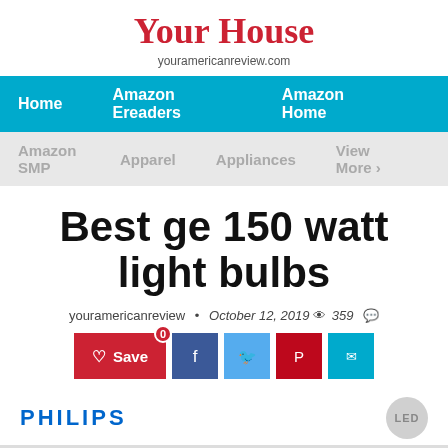Your House
youramericanreview.com
Home   Amazon Ereaders   Amazon Home
Amazon SMP   Apparel   Appliances   View More >
Best ge 150 watt light bulbs
youramericanreview • October 12, 2019  359
[Figure (infographic): Social sharing buttons: Save (with badge 0), Facebook, Twitter, Pinterest, Email]
[Figure (logo): PHILIPS brand logo in blue on the left, LED circular badge on the right]